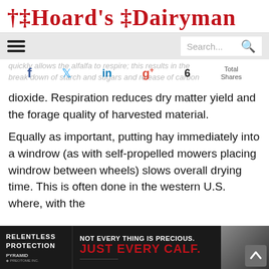Hoard's Dairyman
quickly allows the alfalfa to respire; this results in the break down of starch and sugars and release of carbon dioxide. Respiration reduces dry matter yield and the forage quality of harvested material.
Equally as important, putting hay immediately into a windrow (as with self-propelled mowers placing windrow between wheels) slows overall drying time. This is often done in the western U.S. where, with the
[Figure (other): Advertisement banner for Relentless Protection by Pyramid, with text 'NOT EVERY THING IS PRECIOUS. JUST EVERY CALF.' and image of a calf]